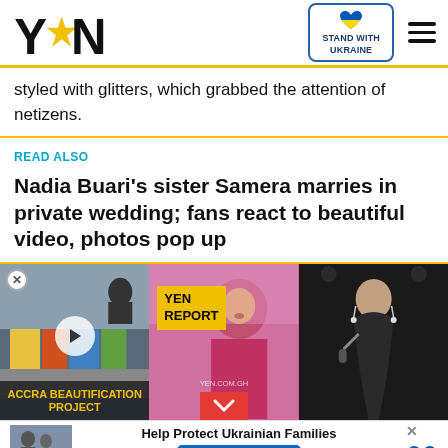YEN — STAND WITH UKRAINE
styled with glitters, which grabbed the attention of netizens.
READ ALSO
Nadia Buari's sister Samera marries in private wedding; fans react to beautiful video, photos pop up
[Figure (photo): Three image panels: left shows a video thumbnail of Accra Beautification Project with play button, middle shows a woman in red with YEN REPORT badge, right shows a woman singing in a black dress on a dark stage.]
[Figure (photo): Ad bar at bottom: thumbnail of Ukrainian refugees, text 'Help Protect Ukrainian Families' with DONATE NOW button and Ukraine heart flag icon.]